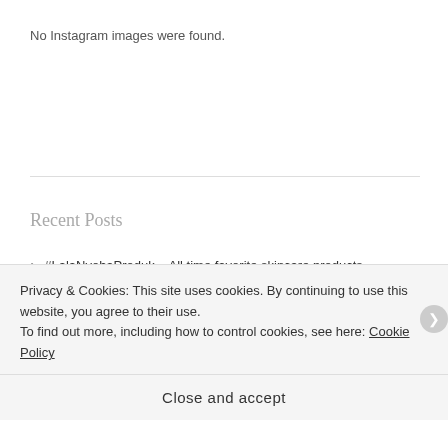No Instagram images were found.
Recent Posts
#LalaNyobaProduk – All time favorite skincare products
Pulo Cinta – Island of love
Spring time in Seoul
While we're young (Europe trip)
The big apple
Privacy & Cookies: This site uses cookies. By continuing to use this website, you agree to their use.
To find out more, including how to control cookies, see here: Cookie Policy
Close and accept